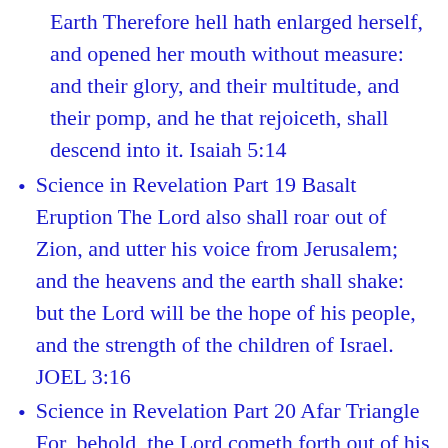Earth Therefore hell hath enlarged herself, and opened her mouth without measure: and their glory, and their multitude, and their pomp, and he that rejoiceth, shall descend into it. Isaiah 5:14
Science in Revelation Part 19 Basalt Eruption The Lord also shall roar out of Zion, and utter his voice from Jerusalem; and the heavens and the earth shall shake: but the Lord will be the hope of his people, and the strength of the children of Israel. JOEL 3:16
Science in Revelation Part 20 Afar Triangle For, behold, the Lord cometh forth out of his place, and will come down, and tread upon the high places of the earth. [4] And the mountains shall be molten under him, and